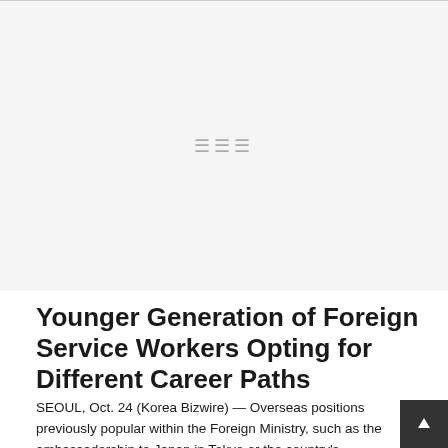[Figure (photo): Large image placeholder area showing a decorative divider/marks symbol in the center, representing a photo related to the article about Foreign Service Workers]
Younger Generation of Foreign Service Workers Opting for Different Career Paths
SEOUL, Oct. 24 (Korea Bizwire) — Overseas positions previously popular within the Foreign Ministry, such as the ambassadorship to Japan in Tokyo or the country's representative to the OECD in Paris, had no applicants following a recent job opening announcement, surprising